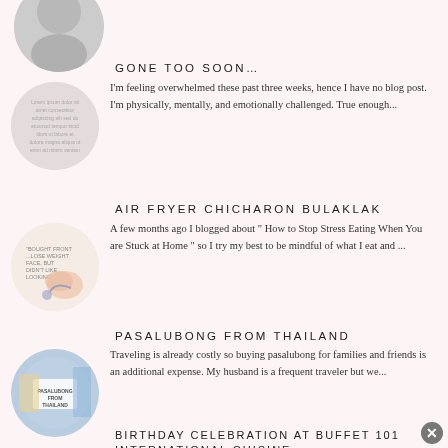[Figure (photo): Circular thumbnail at the top, partially visible, appears to be a profile or decorative image]
GONE TOO SOON…
[Figure (photo): Circular thumbnail with text overlay, blog post image for Gone Too Soon]
I'm feeling overwhelmed these past three weeks, hence I have no blog post. I'm physically, mentally, and emotionally challenged. True enough...
AIR FRYER CHICHARON BULAKLAK
[Figure (illustration): Circular thumbnail with illustration of food/air fryer chicharon bulaklak with text overlay]
A few months ago I blogged about " How to Stop Stress Eating When You are Stuck at Home " so I try my best to be mindful of what I eat and ...
PASALUBONG FROM THAILAND
[Figure (photo): Circular thumbnail showing Thailand pasalubong/souvenirs photo]
Traveling is already costly so buying pasalubong for families and friends is an additional expense. My husband is a frequent traveler but we...
BIRTHDAY CELEBRATION AT BUFFET 101 INTERNATIONAL CUISINE
[Figure (photo): Circular thumbnail showing interior of Buffet 101 restaurant]
June is my husband's birth month and as usual, he always prefers a simple celebration. I suggested a staycation or beach outing habang baka...